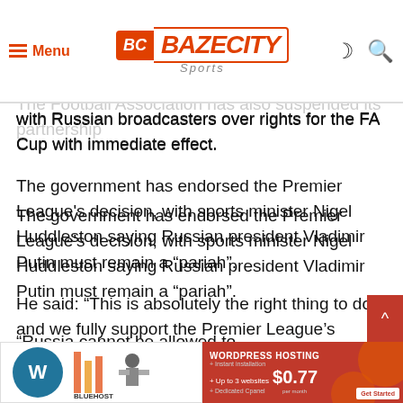Menu | BAZECITY Sports
continue to display live…
The Football Association has also suspended its partnership with Russian broadcasters over rights for the FA Cup with immediate effect.
The government has endorsed the Premier League's decision, with sports minister Nigel Huddleston saying Russian president Vladimir Putin must remain a “pariah”.
He said: “This is absolutely the right thing to do and we fully support the Premier League’s decision to stop broadcasting matches in Russia in response to Putin’s barbaric, senseless invasion of Ukraine.
“Russia cannot be allowed to legitimise its illegal war through sport and cultur…
[Figure (screenshot): Advertisement banners at bottom: WordPress hosting ad on left, red WORDPRESS HOSTING $0.77 per month ad on right]